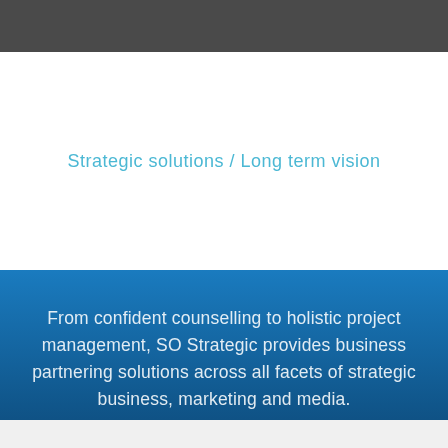Strategic solutions / Long term vision
From confident counselling to holistic project management, SO Strategic provides business partnering solutions across all facets of strategic business, marketing and media.